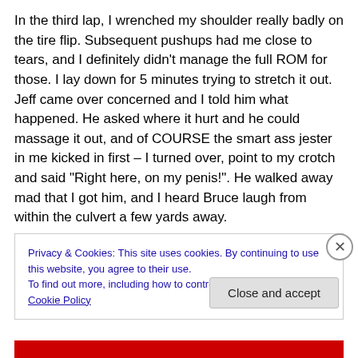In the third lap, I wrenched my shoulder really badly on the tire flip. Subsequent pushups had me close to tears, and I definitely didn't manage the full ROM for those. I lay down for 5 minutes trying to stretch it out. Jeff came over concerned and I told him what happened. He asked where it hurt and he could massage it out, and of COURSE the smart ass jester in me kicked in first – I turned over, point to my crotch and said "Right here, on my penis!". He walked away mad that I got him, and I heard Bruce laugh from within the culvert a few yards away.
Privacy & Cookies: This site uses cookies. By continuing to use this website, you agree to their use.
To find out more, including how to control cookies, see here: Cookie Policy